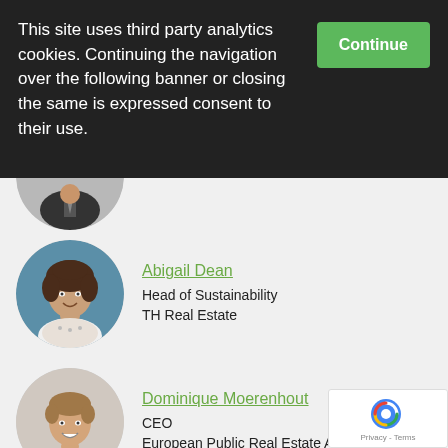This site uses third party analytics cookies. Continuing the navigation over the following banner or closing the same is expressed consent to their use.
[Figure (photo): Circular headshot photo of a person partially visible at top, cropped]
Abigail Dean
Head of Sustainability
TH Real Estate
[Figure (photo): Circular headshot photo of Abigail Dean, a woman with curly dark hair]
Dominique Moerenhout
CEO
European Public Real Estate Association
[Figure (photo): Circular headshot photo of Dominique Moerenhout, a man in a suit smiling]
David Hirst
Head of Operations Real Estate U
Executive Director
[Figure (photo): Circular headshot photo of David Hirst, a man with short dark hair]